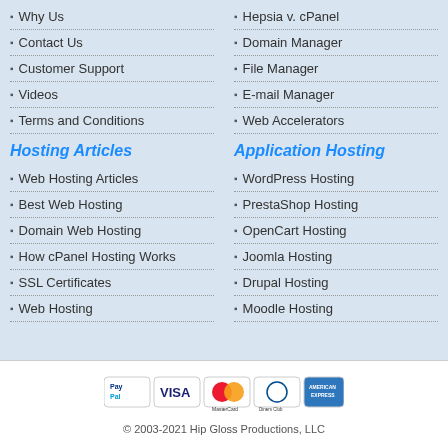Why Us
Contact Us
Customer Support
Videos
Terms and Conditions
Hosting Articles
Web Hosting Articles
Best Web Hosting
Domain Web Hosting
How cPanel Hosting Works
SSL Certificates
Web Hosting
Hepsia v. cPanel
Domain Manager
File Manager
E-mail Manager
Web Accelerators
Application Hosting
WordPress Hosting
PrestaShop Hosting
OpenCart Hosting
Joomla Hosting
Drupal Hosting
Moodle Hosting
[Figure (other): Payment method logos: PayPal, VISA, MasterCard, Diners Club, American Express]
© 2003-2021 Hip Gloss Productions, LLC